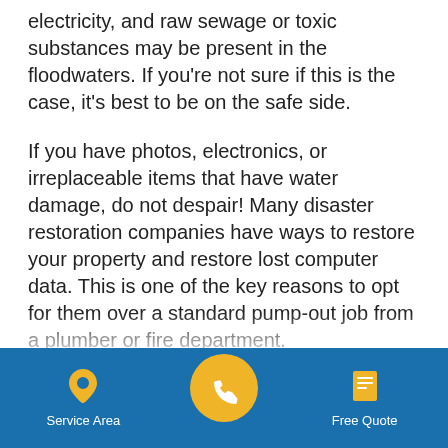electricity, and raw sewage or toxic substances may be present in the floodwaters. If you're not sure if this is the case, it's best to be on the safe side.
If you have photos, electronics, or irreplaceable items that have water damage, do not despair! Many disaster restoration companies have ways to restore your property and restore lost computer data. This is one of the key reasons to opt for them over a standard pump-out job from a plumber or fire department.
Since the basement could be humid for a couple days while the drying out process continues, you may want to move out personal items such as photos, documents, and fabrics. They may look fine now, but they could grow mold in the near future.
[Figure (infographic): Blue bottom navigation bar with Service Area (location pin icon), a central yellow circular phone button, and Free Quote (document icon) options.]